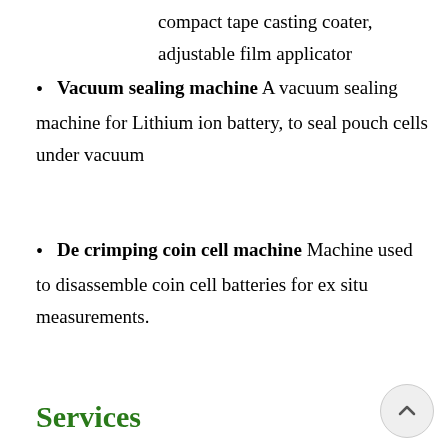compact tape casting coater, adjustable film applicator
Vacuum sealing machine A vacuum sealing machine for Lithium ion battery, to seal pouch cells under vacuum
De crimping coin cell machine Machine used to disassemble coin cell batteries for ex situ measurements.
Services
The E-Stor tribe provides a deep understanding and characterisation of the structural, chemical, physical, mechanical properties of a wide class of materials including, organics, inorganic and metallic